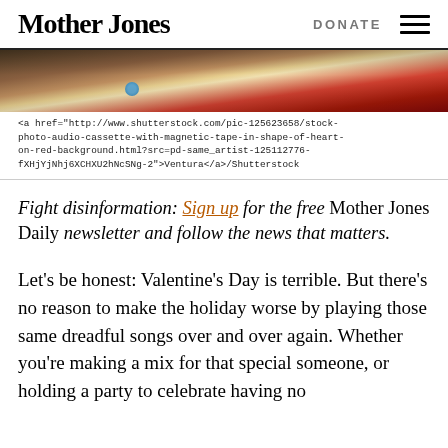Mother Jones | DONATE
[Figure (photo): Cropped photo of audio cassette with magnetic tape on red background]
<a href="http://www.shutterstock.com/pic-125623658/stock-photo-audio-cassette-with-magnetic-tape-in-shape-of-heart-on-red-background.html?src=pd-same_artist-125112776-fXHjYjNhj6XCHXU2hNcSNg-2">Ventura</a>/Shutterstock
Fight disinformation: Sign up for the free Mother Jones Daily newsletter and follow the news that matters.
Let's be honest: Valentine's Day is terrible. But there's no reason to make the holiday worse by playing those same dreadful songs over and over again. Whether you're making a mix for that special someone, or holding a party to celebrate having no